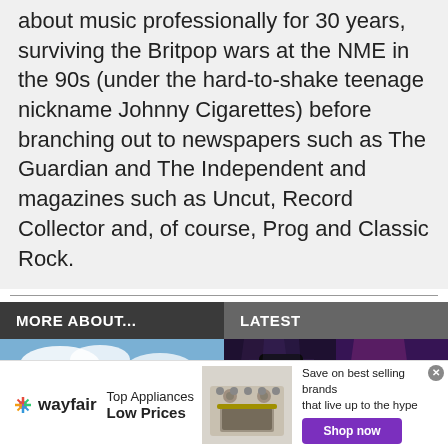about music professionally for 30 years, surviving the Britpop wars at the NME in the 90s (under the hard-to-shake teenage nickname Johnny Cigarettes) before branching out to newspapers such as The Guardian and The Independent and magazines such as Uncut, Record Collector and, of course, Prog and Classic Rock.
MORE ABOUT...
LATEST
[Figure (photo): Camden Lock market street scene with crowds and colorful signage]
[Figure (photo): Two performers on stage: a dark gothic-styled singer and a guitarist with pink lighting]
[Figure (photo): Wayfair advertisement banner: Top Appliances Low Prices with stove image and Shop now button]